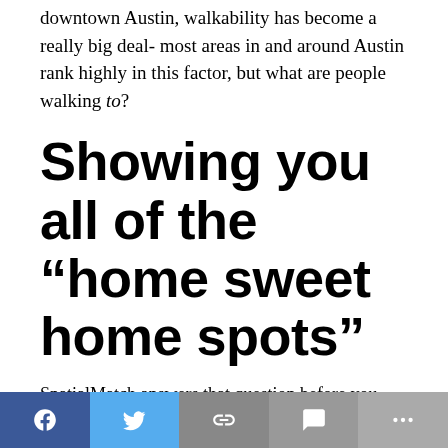downtown Austin, walkability has become a really big deal- most areas in and around Austin rank highly in this factor, but what are people walking to?
Showing you all of the “home sweet home spots”
SpatialMatch answers that question before you buy or lease by allowing you to see everything of personal interest within close proximity so that you can target exactly what makes you feel at home, and you are shown the available homes within your designated